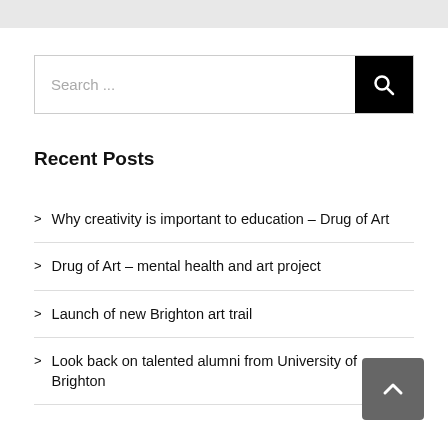[Figure (screenshot): Search input field with black search button on the right containing a magnifying glass icon]
Recent Posts
Why creativity is important to education – Drug of Art
Drug of Art – mental health and art project
Launch of new Brighton art trail
Look back on talented alumni from University of Brighton